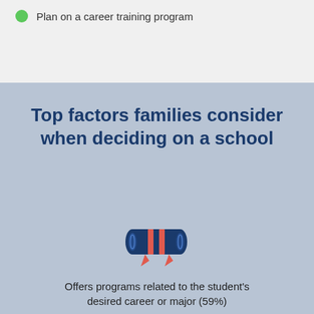Plan on a career training program
Top factors families consider when deciding on a school
[Figure (illustration): Diploma/scroll icon with blue rolled document and red ribbon accent]
Offers programs related to the student's desired career or major (59%)